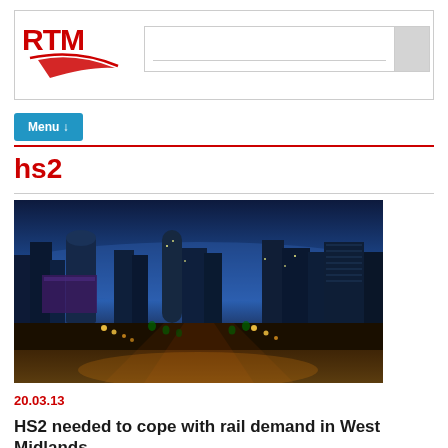[Figure (logo): RTM logo with red text and swoosh graphic]
[Figure (screenshot): Search box input field with grey search button]
Menu ↓
hs2
[Figure (photo): Aerial night/dusk cityscape photo of Birmingham city centre showing illuminated streets and buildings]
20.03.13
HS2 needed to cope with rail demand in West Midlands